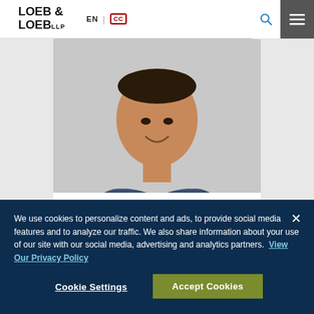[Figure (logo): Loeb & Loeb LLP law firm logo with navigation bar including EN language selector, closed captioning icon, search icon, and hamburger menu]
[Figure (photo): Professional headshot of Jaszick Maldonado, a man in a blue blazer and plaid shirt, smiling, against a gray background]
Jaszick Maldonado
Paralegal
We use cookies to personalize content and ads, to provide social media features and to analyze our traffic. We also share information about your use of our site with our social media, advertising and analytics partners. View Our Privacy Policy
Cookie Settings
Accept Cookies